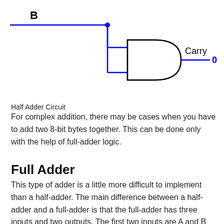[Figure (circuit-diagram): Half adder circuit diagram showing input B connected via blue wire to an AND gate with two inputs, producing Carry output labeled 0 in blue.]
Half Adder Circuit
For complex addition, there may be cases when you have to add two 8-bit bytes together. This can be done only with the help of full-adder logic.
Full Adder
This type of adder is a little more difficult to implement than a half-adder. The main difference between a half-adder and a full-adder is that the full-adder has three inputs and two outputs. The first two inputs are A and B and the third input is an input carry designated as CIN.